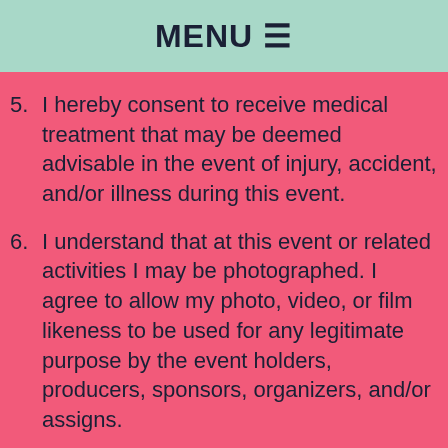MENU ☰
5. I hereby consent to receive medical treatment that may be deemed advisable in the event of injury, accident, and/or illness during this event.
6. I understand that at this event or related activities I may be photographed. I agree to allow my photo, video, or film likeness to be used for any legitimate purpose by the event holders, producers, sponsors, organizers, and/or assigns.